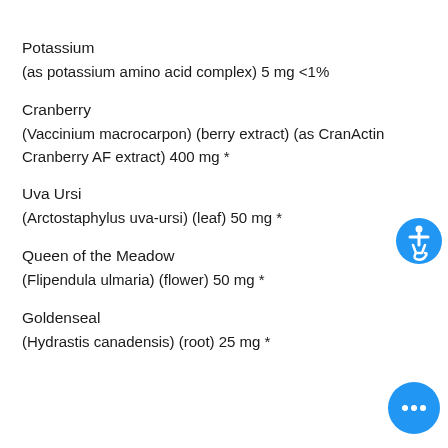Potassium
(as potassium amino acid complex) 5 mg <1%
Cranberry
(Vaccinium macrocarpon) (berry extract) (as CranActin Cranberry AF extract) 400 mg *
Uva Ursi
(Arctostaphylus uva-ursi) (leaf) 50 mg *
Queen of the Meadow
(Flipendula ulmaria) (flower) 50 mg *
Goldenseal
(Hydrastis canadensis) (root) 25 mg *
[Figure (illustration): Blue circle accessibility icon (wheelchair symbol) in upper right area]
[Figure (illustration): Blue circle chat/messaging icon with ellipsis in lower right corner]